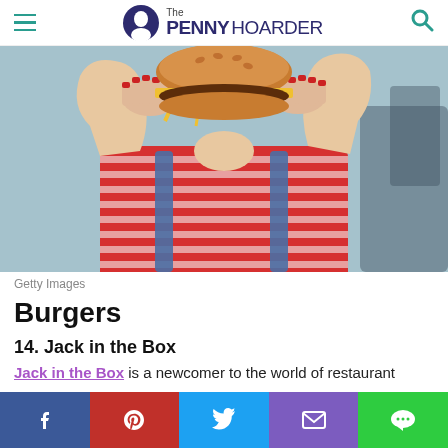The PENNY HOARDER
[Figure (photo): Woman in red striped shirt and denim overalls holding up a large cheeseburger to her face, about to take a bite. Red painted fingernails. Restaurant background blurred.]
Getty Images
Burgers
14. Jack in the Box
Jack in the Box is a newcomer to the world of restaurant